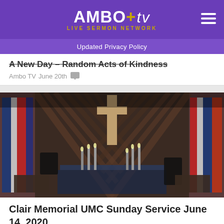AMBO+tv LIVE SERMON NETWORK
Updated Privacy Policy
A New Day – Random Acts of Kindness
Ambo TV June 20th
[Figure (photo): Interior of a church sanctuary featuring a large wooden cross on the back wall with diagonal wood paneling, a communion table/altar area, candles, and colorful stained glass windows on the sides]
Clair Memorial UMC Sunday Service June 14, 2020